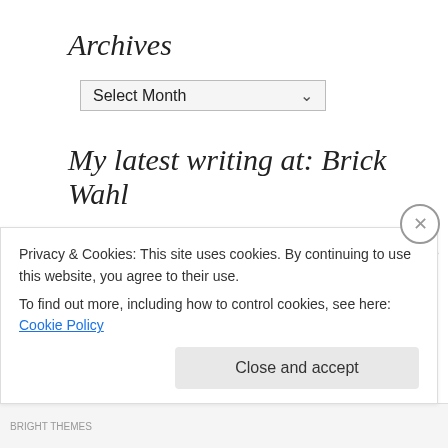Archives
Select Month
My latest writing at: Brick Wahl
Heavy metal tomato squeezing
(2017) So Glenn Danzig has left the building. Well, left Los Feliz. My pal Paul Grant posted one of his signature perfect little paragraphs about it. (There are, here and
Privacy & Cookies: This site uses cookies. By continuing to use this website, you agree to their use.
To find out more, including how to control cookies, see here: Cookie Policy
Close and accept